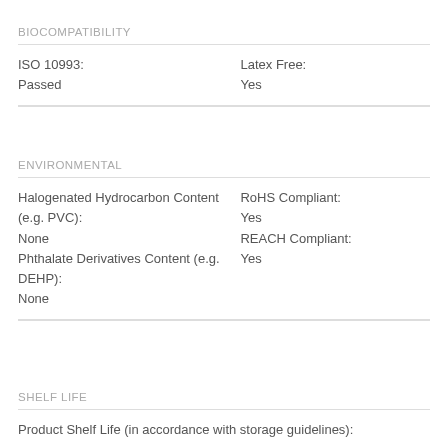BIOCOMPATIBILITY
|  |  |
| --- | --- |
| ISO 10993:
Passed | Latex Free:
Yes |
ENVIRONMENTAL
|  |  |
| --- | --- |
| Halogenated Hydrocarbon Content (e.g. PVC):
None
Phthalate Derivatives Content (e.g. DEHP):
None | RoHS Compliant:
Yes
REACH Compliant:
Yes |
SHELF LIFE
Product Shelf Life (in accordance with storage guidelines):